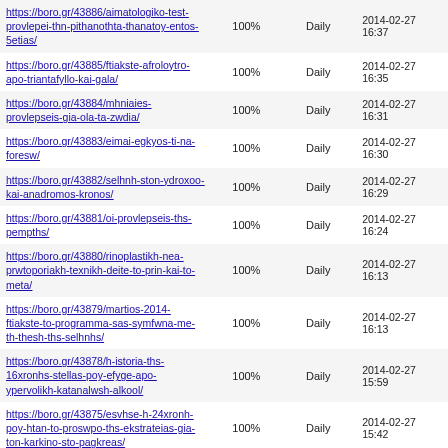| URL | Priority | Change Freq | Last Modified |
| --- | --- | --- | --- |
| https://boro.gr/43886/aimatologiko-test-provlepei-thn-pithanothta-thanatoy-entos-5etias/ | 100% | Daily | 2014-02-27 16:37 |
| https://boro.gr/43885/ftiakste-afroloytro-apo-triantafyllo-kai-gala/ | 100% | Daily | 2014-02-27 16:35 |
| https://boro.gr/43884/mhniaies-provlepseis-gia-ola-ta-zwdia/ | 100% | Daily | 2014-02-27 16:31 |
| https://boro.gr/43883/eimai-egkyos-ti-na-foresw/ | 100% | Daily | 2014-02-27 16:30 |
| https://boro.gr/43882/selhnh-ston-ydroxoo-kai-anadromos-kronos/ | 100% | Daily | 2014-02-27 16:29 |
| https://boro.gr/43881/oi-provlepseis-ths-pempths/ | 100% | Daily | 2014-02-27 16:24 |
| https://boro.gr/43880/rinoplastikh-nea-prwtoporiakh-texnikh-deite-to-prin-kai-to-meta/ | 100% | Daily | 2014-02-27 16:13 |
| https://boro.gr/43879/martios-2014-ftiakste-to-programma-sas-symfwna-me-th-thesh-ths-selhnhs/ | 100% | Daily | 2014-02-27 16:13 |
| https://boro.gr/43878/h-istoria-ths-16xronhs-stellas-poy-efyge-apo-ypervolikh-katanalwsh-alkool/ | 100% | Daily | 2014-02-27 15:59 |
| https://boro.gr/43875/esvhse-h-24xronh-poy-htan-to-proswpo-ths-ekstrateias-gia-ton-karkino-sto-pagkreas/ | 100% | Daily | 2014-02-27 15:42 |
| https://boro.gr/43873/ti-na-foresw-ayrio/ | 100% | Daily | 2014-02-27 15:41 |